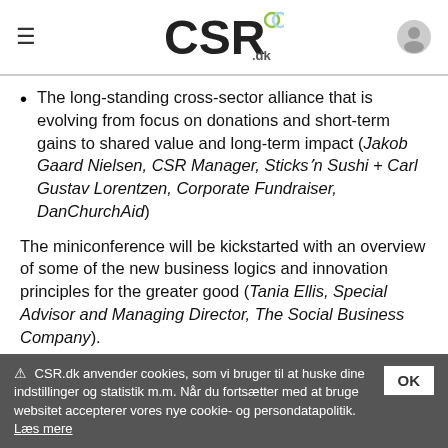CSR.dk
The long-standing cross-sector alliance that is evolving from focus on donations and short-term gains to shared value and long-term impact (Jakob Gaard Nielsen, CSR Manager, Sticksʼn Sushi + Carl Gustav Lorentzen, Corporate Fundraiser, DanChurchAid)
The miniconference will be kickstarted with an overview of some of the new business logics and innovation principles for the greater good (Tania Ellis, Special Advisor and Managing Director, The Social Business Company).
Throughout the programme we will also discuss,
CSR.dk anvender cookies, som vi bruger til at huske dine indstillinger og statistik m.m. Når du fortsætter med at bruge websitet accepterer vores nye cookie- og persondatapolitik. Læs mere